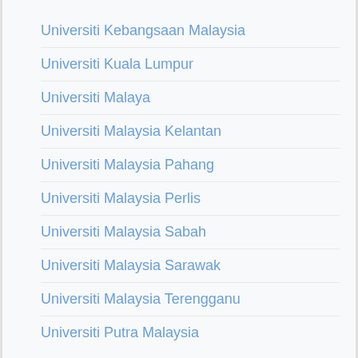Universiti Kebangsaan Malaysia
Universiti Kuala Lumpur
Universiti Malaya
Universiti Malaysia Kelantan
Universiti Malaysia Pahang
Universiti Malaysia Perlis
Universiti Malaysia Sabah
Universiti Malaysia Sarawak
Universiti Malaysia Terengganu
Universiti Putra Malaysia